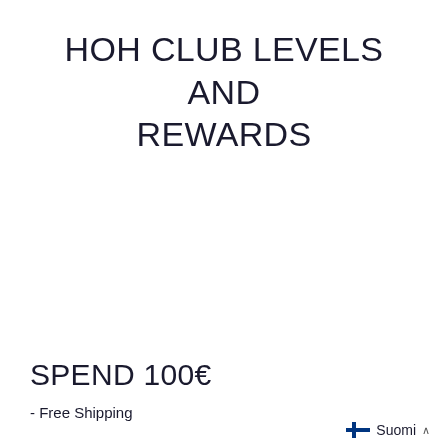HOH CLUB LEVELS AND REWARDS
SPEND 100€
- Free Shipping